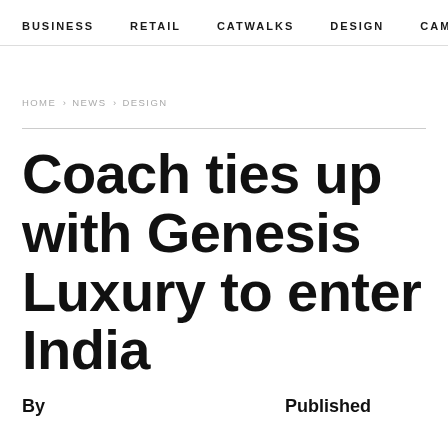BUSINESS   RETAIL   CATWALKS   DESIGN   CAMI >
HOME › NEWS › DESIGN
Coach ties up with Genesis Luxury to enter India
By   Published